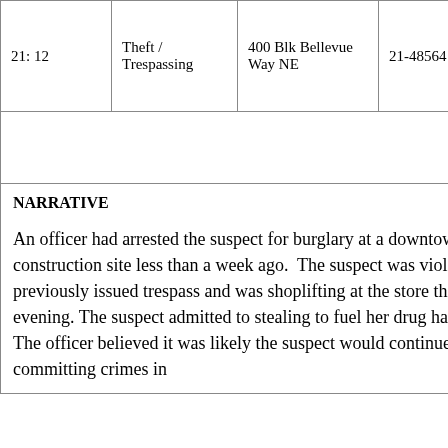| 21: 12 | Theft / Trespassing | 400 Blk Bellevue Way NE | 21-48564 |
|  |  |  |  |
| NARRATIVE

An officer had arrested the suspect for burglary at a downtown construction site less than a week ago.  The suspect was violating a previously issued trespass and was shoplifting at the store this evening. The suspect admitted to stealing to fuel her drug habit.  The officer believed it was likely the suspect would continue committing crimes in |  |  |  |